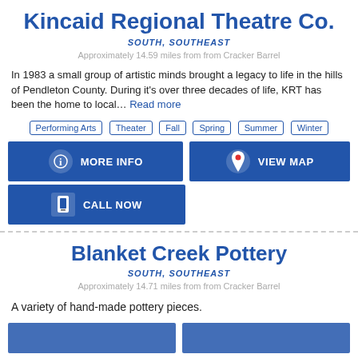Kincaid Regional Theatre Co.
SOUTH, SOUTHEAST
Approximately 14.59 miles from from Cracker Barrel
In 1983 a small group of artistic minds brought a legacy to life in the hills of Pendleton County. During it's over three decades of life, KRT has been the home to local... Read more
Performing Arts
Theater
Fall
Spring
Summer
Winter
MORE INFO
VIEW MAP
CALL NOW
Blanket Creek Pottery
SOUTH, SOUTHEAST
Approximately 14.71 miles from from Cracker Barrel
A variety of hand-made pottery pieces.